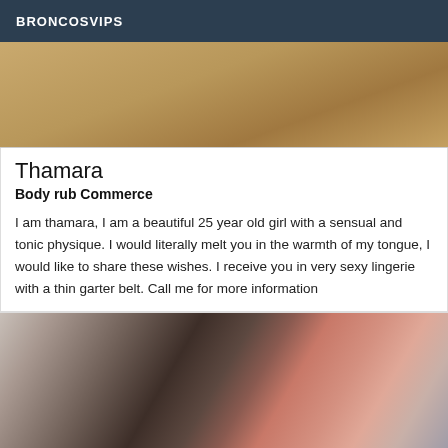BRONCOSVIPS
[Figure (photo): Top cropped photo showing a tan/brown background, partial image]
Thamara
Body rub Commerce
I am thamara, I am a beautiful 25 year old girl with a sensual and tonic physique. I would literally melt you in the warmth of my tongue, I would like to share these wishes. I receive you in very sexy lingerie with a thin garter belt. Call me for more information
[Figure (photo): Bottom photo showing a woman with red lips, dark hair, wearing a necklace, partial face/neck/shoulder visible]